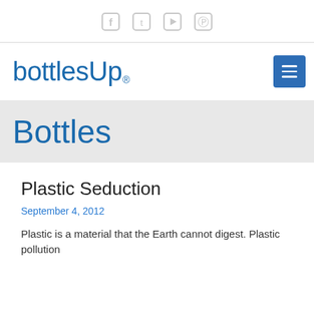[Figure (other): Social media icons: Facebook, Twitter, YouTube, Pinterest in light gray]
[Figure (logo): bottlesUp logo in blue with registered trademark symbol, and blue menu button with three horizontal lines]
Bottles
Plastic Seduction
September 4, 2012
Plastic is a material that the Earth cannot digest. Plastic pollution